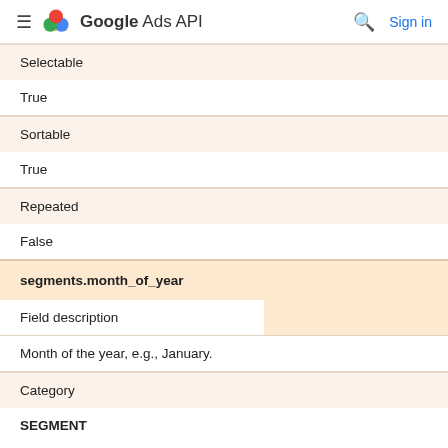Google Ads API
| Selectable |  |
| True |  |
| Sortable |  |
| True |  |
| Repeated |  |
| False |  |
| segments.month_of_year |  |
| Field description |  |
| Month of the year, e.g., January. |  |
| Category |  |
| SEGMENT |  |